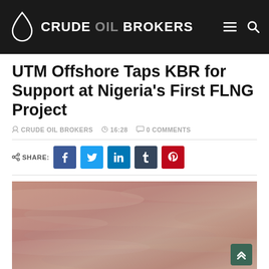CRUDE OIL BROKERS
UTM Offshore Taps KBR for Support at Nigeria's First FLNG Project
CRUDE OIL BROKERS  16:28  0 COMMENTS
SHARE: [Facebook] [Twitter] [LinkedIn] [Tumblr] [Pinterest]
[Figure (photo): Aerial or offshore photo with warm pinkish-brown sky/cloud tones, likely an offshore oil/gas facility scene]